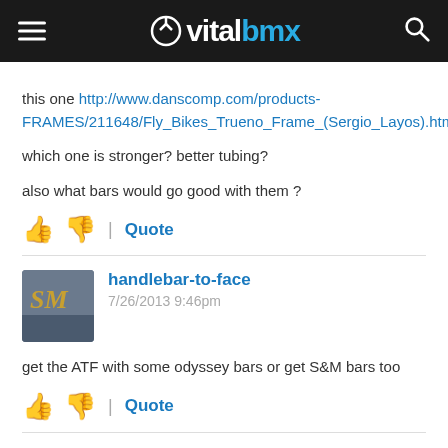vitalbmx
this one http://www.danscomp.com/products-FRAMES/211648/Fly_Bikes_Trueno_Frame_(Sergio_Layos).html
which one is stronger? better tubing?
also what bars would go good with them ?
👍 👎 | Quote
handlebar-to-face
7/26/2013 9:46pm
get the ATF with some odyssey bars or get S&M bars too
👍 👎 | Quote